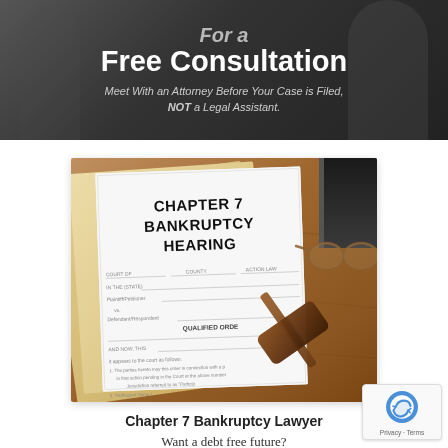For a Free Consultation
Meet With an Attorney Before Your Case is Filed, NOT a Legal Assistant.
[Figure (photo): Photo of a Chapter 7 Bankruptcy Hearing legal document with a gavel and glasses on a wooden desk with manila folder]
Chapter 7 Bankruptcy Lawyer
Want a debt free future?